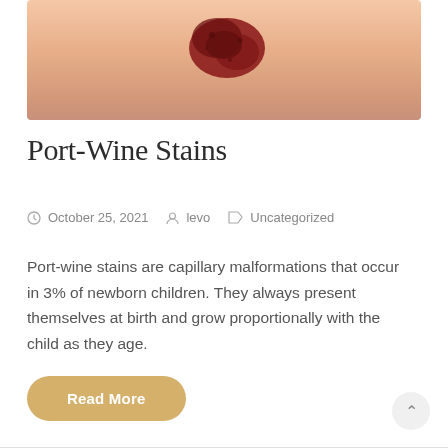[Figure (photo): Close-up photo of skin with a port-wine stain birthmark — a dark reddish-crimson irregular patch on peachy skin.]
Port-Wine Stains
October 25, 2021   levo   Uncategorized
Port-wine stains are capillary malformations that occur in 3% of newborn children. They always present themselves at birth and grow proportionally with the child as they age.
Read More